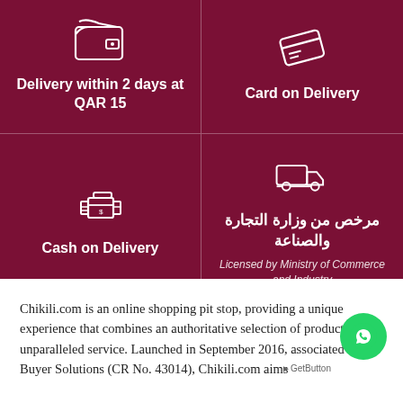[Figure (infographic): Four-panel dark red/maroon grid showing delivery and payment features: top-left shows wallet icon with 'Delivery within 2 days at QAR 15', top-right shows credit card icon with 'Card on Delivery', bottom-left shows cash icon with 'Cash on Delivery', bottom-right shows delivery truck icon with Arabic text 'مرخص من وزارة التجارة والصناعة' and English 'Licensed by Ministry of Commerce and Industry']
Chikili.com is an online shopping pit stop, providing a unique experience that combines an authoritative selection of products and unparalleled service. Launched in September 2016, associated with Buyer Solutions (CR No. 43014), Chikili.com aims